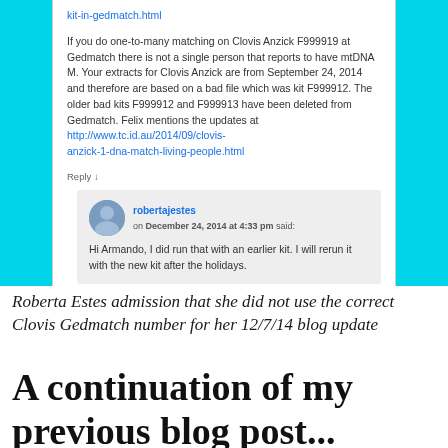[Figure (screenshot): Screenshot of a blog comment thread showing a comment about Clovis Anzick F999919 Gedmatch matching, with a nested reply from robertajestes dated December 24, 2014 at 4:33 pm saying 'Hi Armando, I did run that with an earlier kit. I will rerun it with the new kit after the holidays.' A Follow button is visible.]
Roberta Estes admission that she did not use the correct Clovis Gedmatch number for her 12/7/14 blog update
A continuation of my previous blog post...